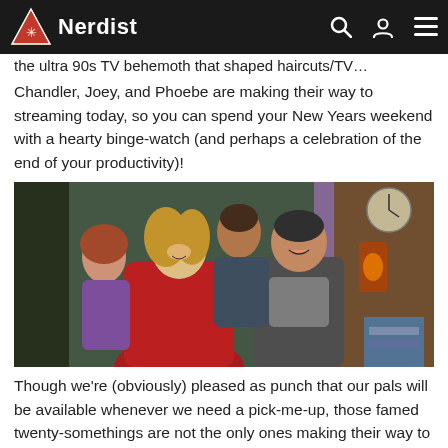Nerdist
the ultra 90s TV behemoth that shaped haircuts/TV…
Chandler, Joey, and Phoebe are making their way to streaming today, so you can spend your New Years weekend with a hearty binge-watch (and perhaps a celebration of the end of your productivity)!
[Figure (photo): Group of Friends TV show characters laughing together in a doorway, woman in red coat in foreground]
Though we're (obviously) pleased as punch that our pals will be available whenever we need a pick-me-up, those famed twenty-somethings are not the only ones making their way to Netflix this January. There's a whole slew of delectable goodies to feast on while you're working out at the gym or practicing whatever other fruitless resolutions you've made.